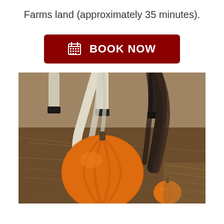Farms land (approximately 35 minutes).
[Figure (other): Dark red rectangular button with calendar icon and 'BOOK NOW' text in white bold letters]
[Figure (photo): A large orange pumpkin and a small mini pumpkin on dry straw ground, with the hairy legs and tail of a horse (black and white) visible in the blurred background]